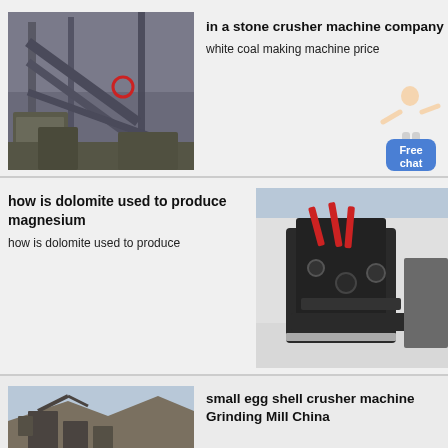[Figure (photo): Industrial stone crusher / vibrating screen machine in a factory setting]
in a stone crusher machine company
white coal making machine price
[Figure (illustration): Person in white coat gesturing with free chat button overlay]
[Figure (photo): Large black crusher machine in an industrial warehouse]
how is dolomite used to produce magnesium
how is dolomite used to produce
[Figure (photo): Outdoor quarry/crusher machinery]
small egg shell crusher machine Grinding Mill China